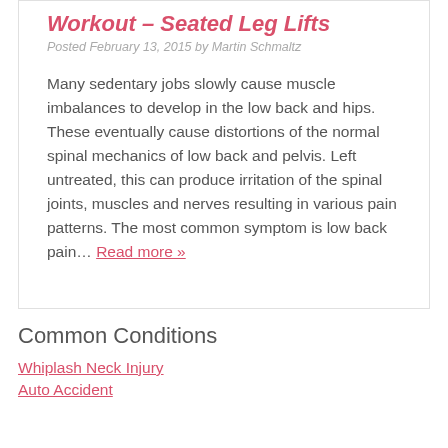Workout – Seated Leg Lifts
Posted February 13, 2015 by Martin Schmaltz
Many sedentary jobs slowly cause muscle imbalances to develop in the low back and hips. These eventually cause distortions of the normal spinal mechanics of low back and pelvis. Left untreated, this can produce irritation of the spinal joints, muscles and nerves resulting in various pain patterns. The most common symptom is low back pain… Read more »
Common Conditions
Whiplash Neck Injury
Auto Accident